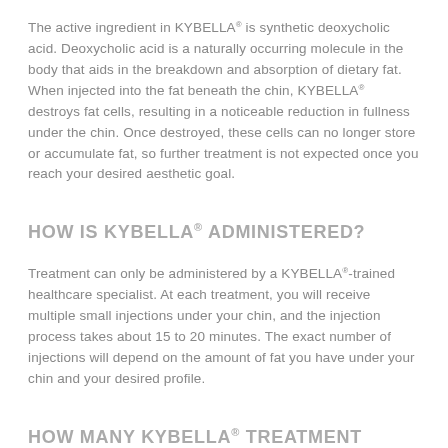The active ingredient in KYBELLA® is synthetic deoxycholic acid. Deoxycholic acid is a naturally occurring molecule in the body that aids in the breakdown and absorption of dietary fat. When injected into the fat beneath the chin, KYBELLA® destroys fat cells, resulting in a noticeable reduction in fullness under the chin. Once destroyed, these cells can no longer store or accumulate fat, so further treatment is not expected once you reach your desired aesthetic goal.
HOW IS KYBELLA® ADMINISTERED?
Treatment can only be administered by a KYBELLA®-trained healthcare specialist. At each treatment, you will receive multiple small injections under your chin, and the injection process takes about 15 to 20 minutes. The exact number of injections will depend on the amount of fat you have under your chin and your desired profile.
HOW MANY KYBELLA® TREATMENT SESSIONS WILL I NEED?